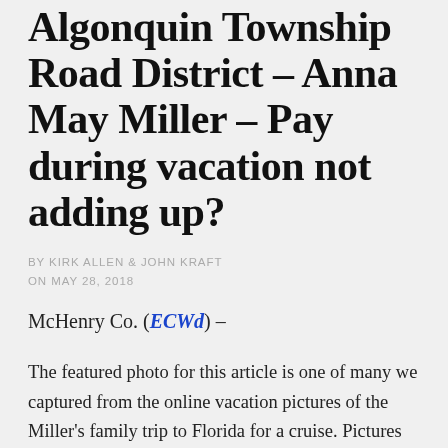Algonquin Township Road District – Anna May Miller – Pay during vacation not adding up?
BY KIRK ALLEN & JOHN KRAFT
ON MAY 28, 2018
McHenry Co. (ECWd) –
The featured photo for this article is one of many we captured from the online vacation pictures of the Miller's family trip to Florida for a cruise. Pictures have what is called metadata, detailed information embedded in each picture taken.
The main page of their vacation portfolio showed vacation dates of March 24 – March 31, 2017 (8